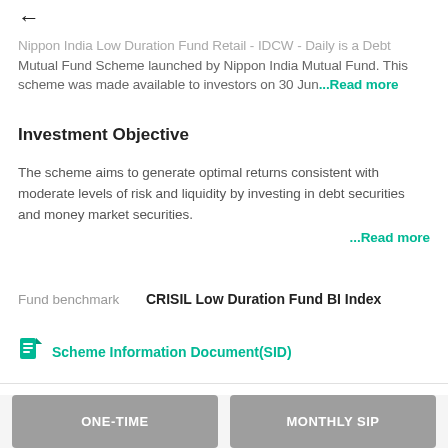← (back arrow)
Nippon India Low Duration Fund Retail - IDCW - Daily is a Debt Mutual Fund Scheme launched by Nippon India Mutual Fund. This scheme was made available to investors on 30 Jun ...Read more
Investment Objective
The scheme aims to generate optimal returns consistent with moderate levels of risk and liquidity by investing in debt securities and money market securities. ...Read more
Fund benchmark    CRISIL Low Duration Fund BI Index
Scheme Information Document(SID)
ONE-TIME
MONTHLY SIP